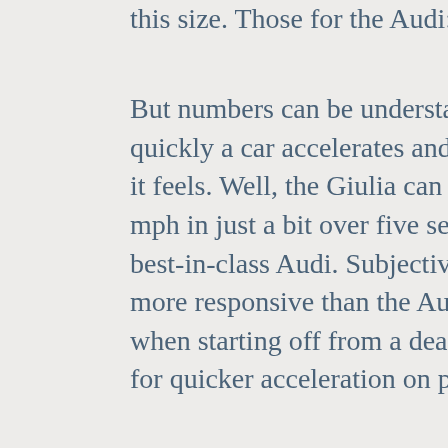this size. Those for the Audi: 252 and 273.
But numbers can be understated. More important: how quickly a car accelerates and how powerful and responsive it feels. Well, the Giulia can get from a dead stop to 60 mph in just a bit over five seconds, virtually matching the best-in-class Audi. Subjectively, it feels even stronger and more responsive than the Audi, with boost lag evident only when starting off from a dead stop. There's rarely a need for quicker acceleration on public roads.
My main issue with the four-cylinder engine: at idle it sounds more than a little like a diesel. In casual driving the engine's power delivery and the transmission's shifts can feel a little lumpy. In general, the closer the accelerator is to the floor the better this